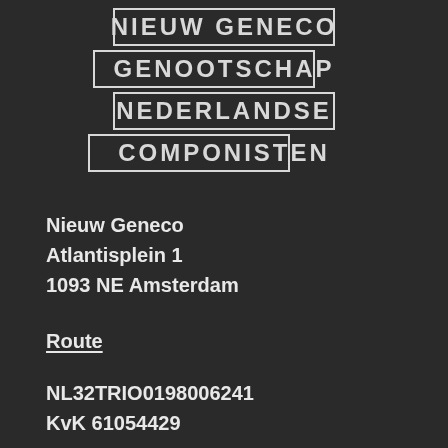[Figure (logo): Nieuw Geneco Genootschap Nederlandse Componisten logo with partial box outlines around each word]
Nieuw Geneco
Atlantisplein 1
1093 NE Amsterdam
Route
NL32TRIO0198006241
KvK 61054429